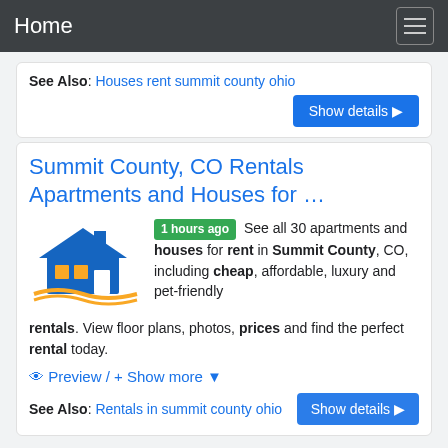Home
See Also: Houses rent summit county ohio
Show details ▶
Summit County, CO Rentals Apartments and Houses for …
[Figure (illustration): House logo illustration with blue roof and gold/yellow base with swoosh]
1 hours ago See all 30 apartments and houses for rent in Summit County, CO, including cheap, affordable, luxury and pet-friendly rentals. View floor plans, photos, prices and find the perfect rental today.
👁 Preview / + Show more ▼
See Also: Rentals in summit county ohio
Show details ▶